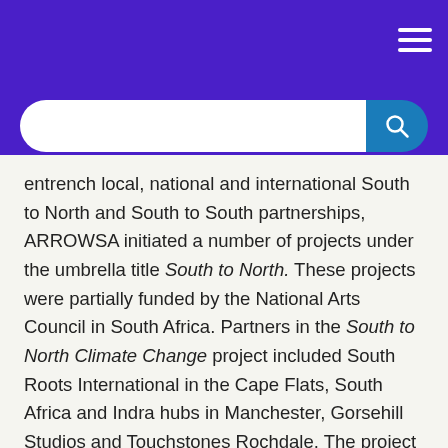[Figure (screenshot): Purple navigation header bar with hamburger menu icon and a search bar with blue search button]
entrench local, national and international South to North and South to South partnerships, ARROWSA initiated a number of projects under the umbrella title South to North. These projects were partially funded by the National Arts Council in South Africa. Partners in the South to North Climate Change project included South Roots International in the Cape Flats, South Africa and Indra hubs in Manchester, Gorsehill Studios and Touchstones Rochdale. The project included fortnightly online arts for social change sessions that the hubs rotated in leading between June and December 2020. See ARROWSA youth, Vincent Salanji's video on old and young speaking about climate change https://www.youtube.com/watch?v=tUk-saXusDE&t=23s ARROWSA leader of the Performing Arts Portfolio, Bheki Dlamini, extended the